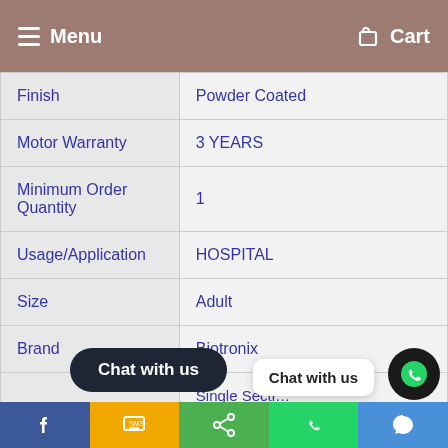Menu | Cart
| Property | Value |
| --- | --- |
| Finish | Powder Coated |
| Motor Warranty | 3 YEARS |
| Minimum Order Quantity | 1 |
| Usage/Application | HOSPITAL |
| Size | Adult |
| Brand | Biotronix |
|  | Single Secti... |
[Figure (screenshot): Chat with us button overlay and WhatsApp chat bubble with share bar at the bottom]